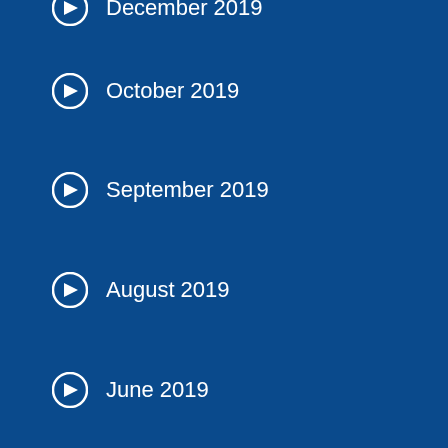December 2019
October 2019
September 2019
August 2019
June 2019
May 2019
April 2019
March 2019
February 2019
January 2019
December 2018